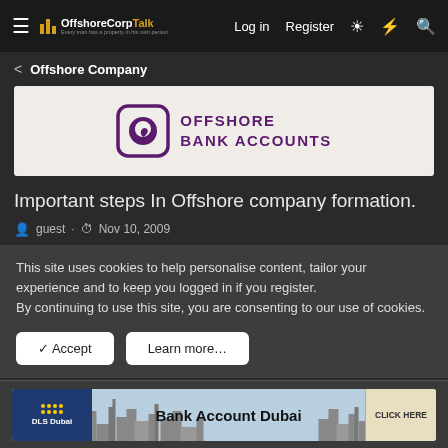OffshoreCorp Talk — Log in  Register
Offshore Company
[Figure (logo): Offshore Bank Accounts logo — purple circular swirl icon with text OFFSHORE BANK ACCOUNTS]
Important steps In Offshore company formation.
guest · Nov 10, 2009
This site uses cookies to help personalise content, tailor your experience and to keep you logged in if you register.
By continuing to use this site, you are consenting to our use of cookies.
[Figure (advertisement): Bank Account Dubai ad banner with DLS Dubai logo and city skyline background with CLICK HERE button]